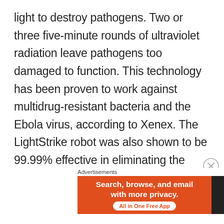light to destroy pathogens. Two or three five-minute rounds of ultraviolet radiation leave pathogens too damaged to function. This technology has been proven to work against multidrug-resistant bacteria and the Ebola virus, according to Xenex. The LightStrike robot was also shown to be 99.99% effective in eliminating the coronavirus from N95 masks, which would reduce the risk of reusing this vital protective equipment amid an acute global shortage.
[Figure (other): DuckDuckGo advertisement banner: 'Search, browse, and email with more privacy. All in One Free App' with DuckDuckGo logo on dark background]